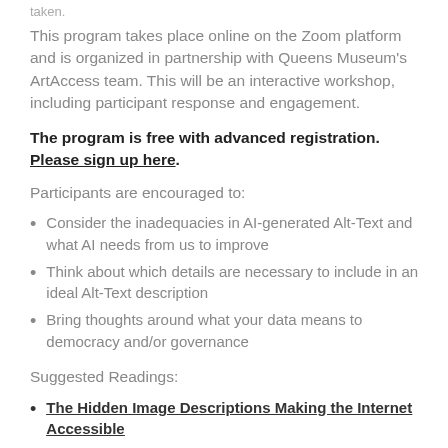taken.
This program takes place online on the Zoom platform and is organized in partnership with Queens Museum's ArtAccess team. This will be an interactive workshop, including participant response and engagement.
The program is free with advanced registration. Please sign up here.
Participants are encouraged to:
Consider the inadequacies in AI-generated Alt-Text and what AI needs from us to improve
Think about which details are necessary to include in an ideal Alt-Text description
Bring thoughts around what your data means to democracy and/or governance
Suggested Readings:
The Hidden Image Descriptions Making the Internet Accessible